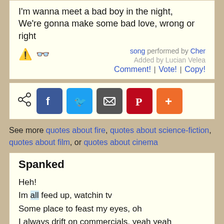I'm wanna meet a bad boy in the night,
We're gonna make some bad love, wrong or right
song performed by Cher
Added by Lucian Velea
Comment! | Vote! | Copy!
[Figure (infographic): Social share bar with share icon, Facebook, Twitter, Email, Pinterest, and More (+) buttons]
See more quotes about fire, quotes about science-fiction, quotes about film, or quotes about cinema
Spanked
Heh!
Im all feed up, watchin tv
Some place to feast my eyes, oh
I always drift on commercials, yeah yeah
This one blew my mind, oh